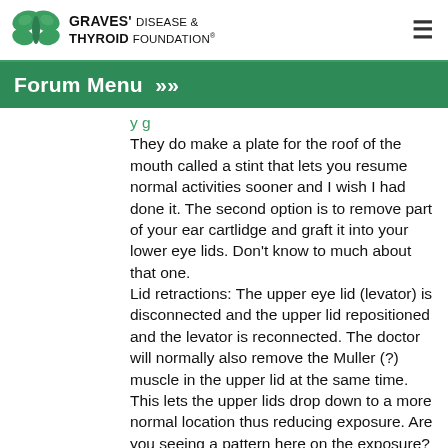Graves' Disease & Thyroid Foundation
Forum Menu »
They do make a plate for the roof of the mouth called a stint that lets you resume normal activities sooner and I wish I had done it. The second option is to remove part of your ear cartlidge and graft it into your lower eye lids. Don't know to much about that one.
Lid retractions: The upper eye lid (levator) is disconnected and the upper lid repositioned and the levator is reconnected. The doctor will normally also remove the Muller (?) muscle in the upper lid at the same time. This lets the upper lids drop down to a more normal location thus reducing exposure. Are you seeing a pattern here on the exposure?
This is also done under a local and I was